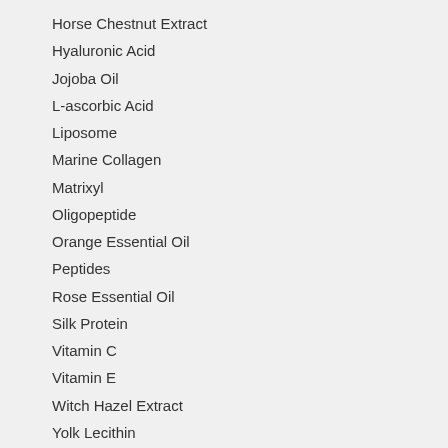Horse Chestnut Extract
Hyaluronic Acid
Jojoba Oil
L-ascorbic Acid
Liposome
Marine Collagen
Matrixyl
Oligopeptide
Orange Essential Oil
Peptides
Rose Essential Oil
Silk Protein
Vitamin C
Vitamin E
Witch Hazel Extract
Yolk Lecithin